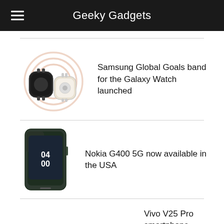Geeky Gadgets
Samsung Global Goals band for the Galaxy Watch launched
Nokia G400 5G now available in the USA
Vivo V25 Pro smartphone launched in India